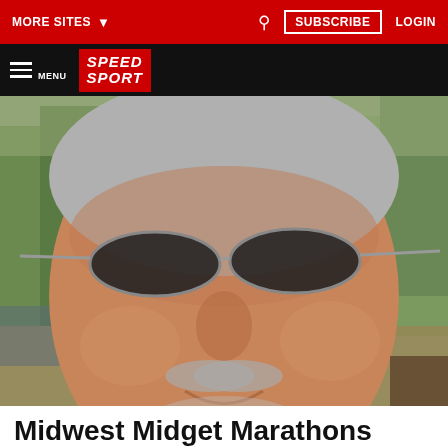MORE SITES  ▾  🔍  SUBSCRIBE  LOGIN
MENU  SPEED SPORT
[Figure (photo): Close-up photo of a middle-aged man with gray hair, sunglasses, a mustache and beard stubble, smiling, wearing a plaid shirt, outdoors with trees and a racetrack visible in the background.]
Midwest Midget Marathons